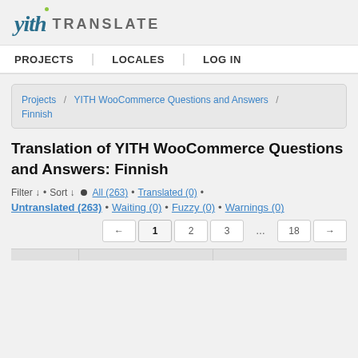yith TRANSLATE
PROJECTS   LOCALES   LOG IN
Projects / YITH WooCommerce Questions and Answers / Finnish
Translation of YITH WooCommerce Questions and Answers: Finnish
Filter ↓ • Sort ↓ ● All (263) • Translated (0) •
Untranslated (263) • Waiting (0) • Fuzzy (0) • Warnings (0)
← 1 2 3 … 18 →